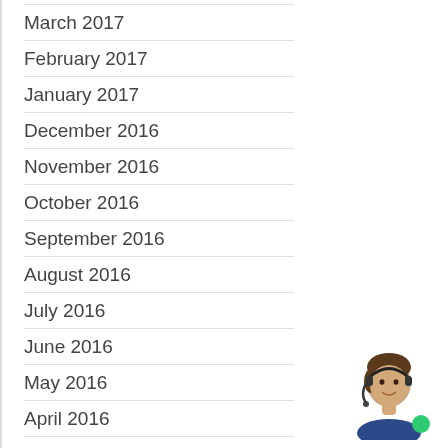March 2017
February 2017
January 2017
December 2016
November 2016
October 2016
September 2016
August 2016
July 2016
June 2016
May 2016
April 2016
March 2016
February 2016
January 2016
[Figure (screenshot): Chat widget with close button (x), speech bubble saying 'Need some assistance?', and customer service avatar photo with green online indicator dot]